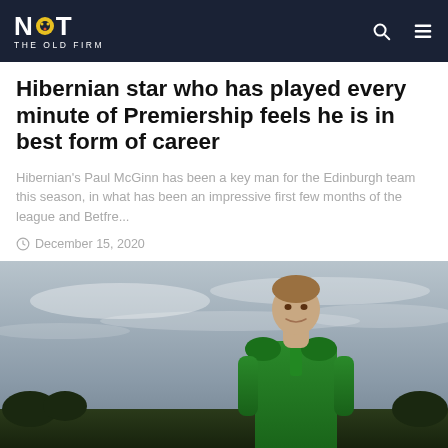NOT THE OLD FIRM
Hibernian star who has played every minute of Premiership feels he is in best form of career
Hibernian's Paul McGinn has been a key man for the Edinburgh team this season, in what has been an impressive first few months of the league and Betfre...
December 15, 2020
[Figure (photo): Paul McGinn in a green Hibernian training jacket, standing outdoors against a cloudy sky with a field/trees visible in the background]